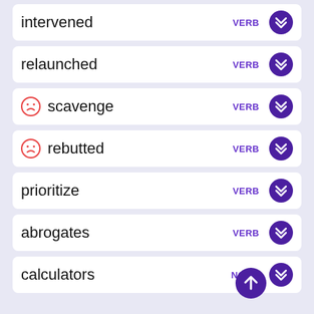intervened VERB
relaunched VERB
scavenge VERB
rebutted VERB
prioritize VERB
abrogates VERB
calculators NOUN